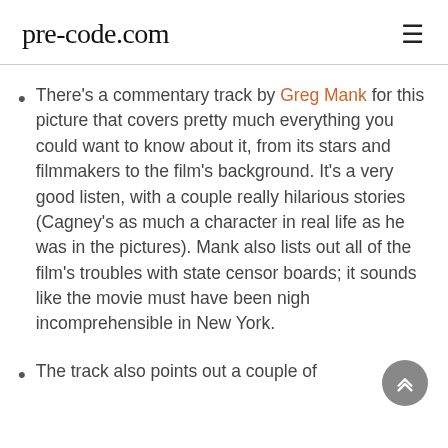pre-code.com
There's a commentary track by Greg Mank for this picture that covers pretty much everything you could want to know about it, from its stars and filmmakers to the film's background. It's a very good listen, with a couple really hilarious stories (Cagney's as much a character in real life as he was in the pictures). Mank also lists out all of the film's troubles with state censor boards; it sounds like the movie must have been nigh incomprehensible in New York.
The track also points out a couple of